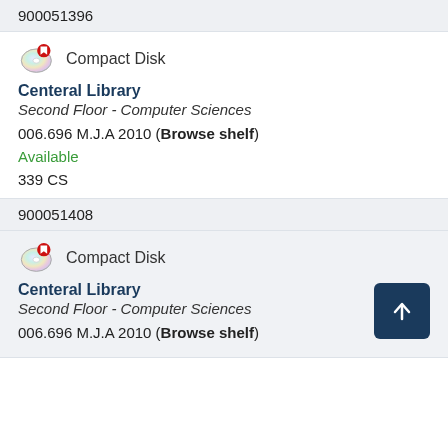900051396
[Figure (illustration): CD/compact disk icon with red bookmark badge]
Compact Disk
Centeral Library
Second Floor - Computer Sciences
006.696 M.J.A 2010 (Browse shelf)
Available
339 CS
900051408
[Figure (illustration): CD/compact disk icon with red bookmark badge]
Compact Disk
Centeral Library
Second Floor - Computer Sciences
006.696 M.J.A 2010 (Browse shelf)